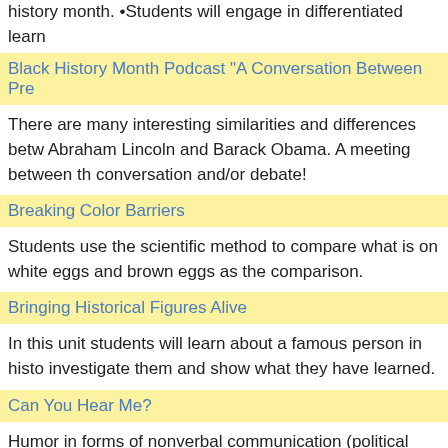history month. •Students will engage in differentiated learn
Black History Month Podcast "A Conversation Between Pre
There are many interesting similarities and differences betw Abraham Lincoln and Barack Obama. A meeting between th conversation and/or debate!
Breaking Color Barriers
Students use the scientific method to compare what is on white eggs and brown eggs as the comparison.
Bringing Historical Figures Alive
In this unit students will learn about a famous person in histo investigate them and show what they have learned.
Can You Hear Me?
Humor in forms of nonverbal communication (political cart a narrative form of communication. This nonverbal form of imagination, and prior knowledge to interpret the author's p
Cochlear Implants–Flip camera